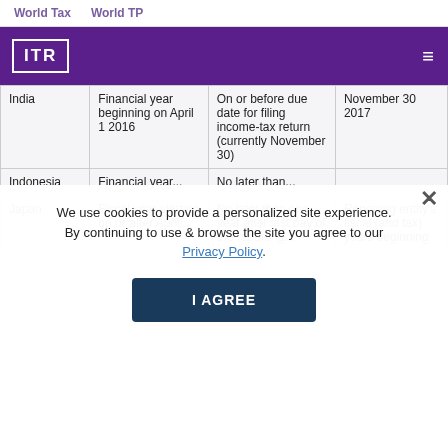World Tax    World TP
[Figure (logo): ITR logo in white on purple header bar with hamburger menu icon]
| Country | Fiscal Year | Filing Deadline | Effective Date |
| --- | --- | --- | --- |
| India | Financial year beginning on April 1 2016 | On or before due date for filing income-tax return (currently November 30) | November 30 2017 |
| Indonesia | Financial year ... | No later than ... | ... |
| Japan | Fiscal year starting on or after April ... | No later than one year after last day of the reporting... | Reporting entity's fiscal (and tax) years beginning... |
We use cookies to provide a personalized site experience. By continuing to use & browse the site you agree to our Privacy Policy.
I AGREE